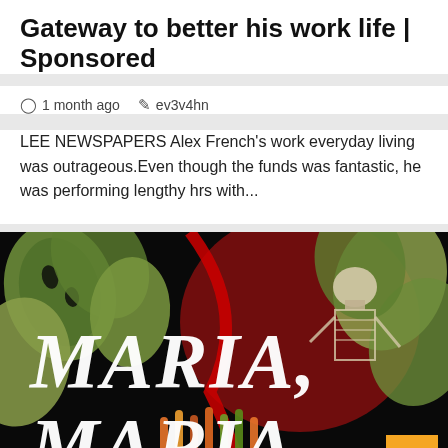Gateway to better his work life | Sponsored
1 month ago   ev3v4hn
LEE NEWSPAPERS Alex French's work everyday living was outrageous.Even though the funds was fantastic, he was performing lengthy hrs with...
[Figure (illustration): Book cover for 'Maria, Maria' showing tropical monstera leaves, a skeleton figure, red background elements, and large white italic text reading 'MARIA, MARIA' on a dark background.]
3 min read